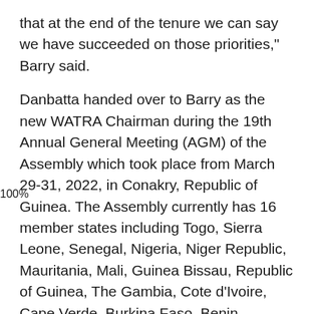that at the end of the tenure we can say we have succeeded on those priorities," Barry said.
Danbatta handed over to Barry as the new WATRA Chairman during the 19th Annual General Meeting (AGM) of the Assembly which took place from March 29-31, 2022, in Conakry, Republic of Guinea. The Assembly currently has 16 member states including Togo, Sierra Leone, Senegal, Nigeria, Niger Republic, Mauritania, Mali, Guinea Bissau, Republic of Guinea, The Gambia, Cote d'Ivoire, Cape Verde, Burkina Faso, Benin Republic, Ghana and Liberia.
WATRA, among other objectives, serves as a platform through which telecommunications regulators work together to broaden access to ICT services in the sub-region. It also promotes the adoption of best global practices that stimulate investment in telecommunications infrastructure and services, deliver